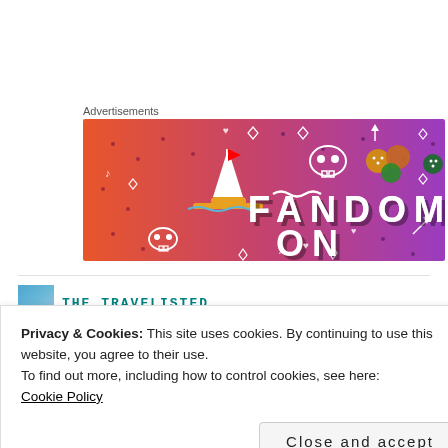Advertisements
[Figure (illustration): Fandom On advertisement banner with colorful gradient background (orange to purple), featuring a sailboat illustration, skull icons, dice, and decorative elements with bold text reading FANDOM ON]
THE TRAVELISTED
Privacy & Cookies: This site uses cookies. By continuing to use this website, you agree to their use.
To find out more, including how to control cookies, see here:
Cookie Policy
Close and accept